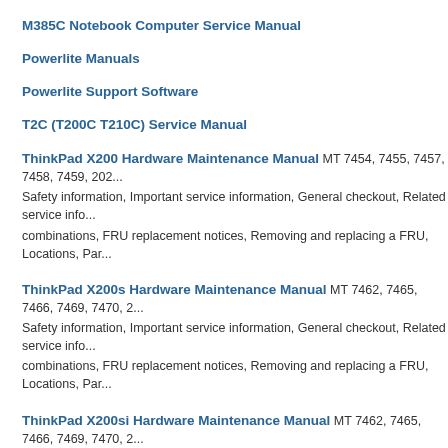M385C Notebook Computer Service Manual
Powerlite Manuals
Powerlite Support Software
T2C (T200C T210C) Service Manual
ThinkPad X200 Hardware Maintenance Manual MT 7454, 7455, 7457, 7458, 7459, 202... Safety information, Important service information, General checkout, Related service info... combinations, FRU replacement notices, Removing and replacing a FRU, Locations, Par...
ThinkPad X200s Hardware Maintenance Manual MT 7462, 7465, 7466, 7469, 7470, 2... Safety information, Important service information, General checkout, Related service info... combinations, FRU replacement notices, Removing and replacing a FRU, Locations, Par...
ThinkPad X200si Hardware Maintenance Manual MT 7462, 7465, 7466, 7469, 7470, 2... Safety information, Important service information, General checkout, Related service info... combinations, FRU replacement notices, Removing and replacing a FRU, Locations, Par...
ThinkPad X201 Hardware Maintenance Manual MT 3249, 3323, 3357, 3626, 3680, 37... Safety information, Important service information, General checkout, Related service info... combinations, FRU replacement notices, Removing and replacing a FRU, Locations, Par...